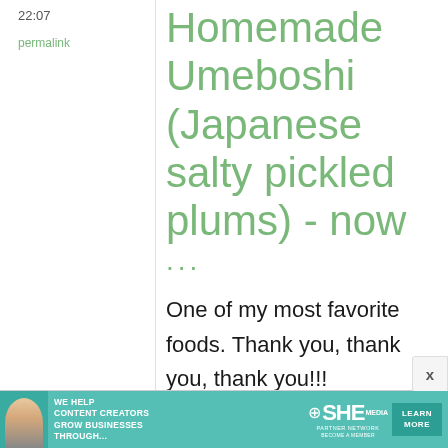22:07
permalink
Homemade Umeboshi (Japanese salty pickled plums) - now
...
One of my most favorite foods. Thank you, thank you, thank you!!!
[Figure (screenshot): Advertisement banner: SHE Media Partner Network - 'We help content creators grow businesses through...' with Learn More button]